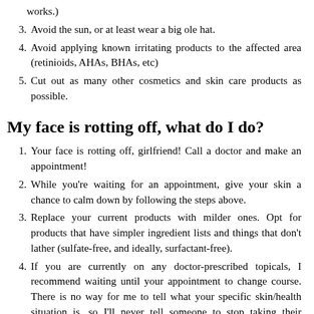works.)
3. Avoid the sun, or at least wear a big ole hat.
4. Avoid applying known irritating products to the affected area (retinioids, AHAs, BHAs, etc)
5. Cut out as many other cosmetics and skin care products as possible.
My face is rotting off, what do I do?
1. Your face is rotting off, girlfriend! Call a doctor and make an appointment!
2. While you're waiting for an appointment, give your skin a chance to calm down by following the steps above.
3. Replace your current products with milder ones. Opt for products that have simpler ingredient lists and things that don't lather (sulfate-free, and ideally, surfactant-free).
4. If you are currently on any doctor-prescribed topicals, I recommend waiting until your appointment to change course. There is no way for me to tell what your specific skin/health situation is, so I'll never tell someone to stop taking their medication.
5. That said, if you are using a topical steroid in the affected area, try